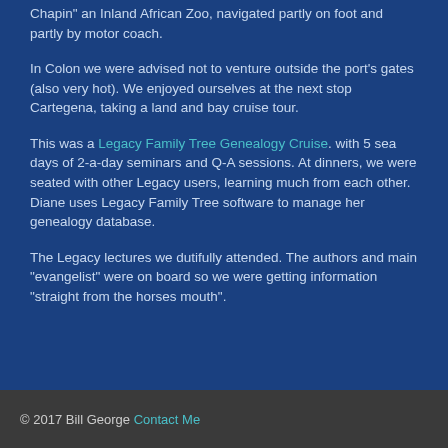Chapin" an Inland African Zoo, navigated partly on foot and partly by motor coach.
In Colon we were advised not to venture outside the port's gates (also very hot). We enjoyed ourselves at the next stop Cartegena, taking a land and bay cruise tour.
This was a Legacy Family Tree Genealogy Cruise. with 5 sea days of 2-a-day seminars and Q-A sessions. At dinners, we were seated with other Legacy users, learning much from each other. Diane uses Legacy Family Tree software to manage her genealogy database.
The Legacy lectures we dutifully attended. The authors and main "evangelist" were on board so we were getting information "straight from the horses mouth".
© 2017 Bill George Contact Me